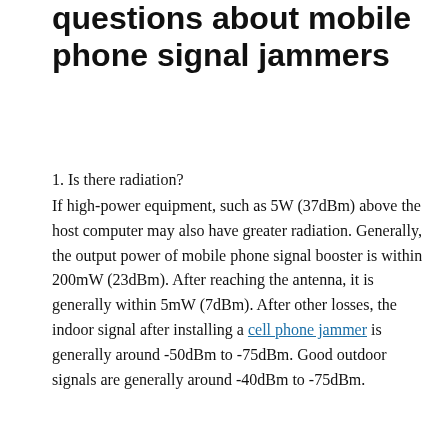questions about mobile phone signal jammers
1. Is there radiation? If high-power equipment, such as 5W (37dBm) above the host computer may also have greater radiation. Generally, the output power of mobile phone signal booster is within 200mW (23dBm). After reaching the antenna, it is generally within 5mW (7dBm). After other losses, the indoor signal after installing a cell phone jammer is generally around -50dBm to -75dBm. Good outdoor signals are generally around -40dBm to -75dBm.